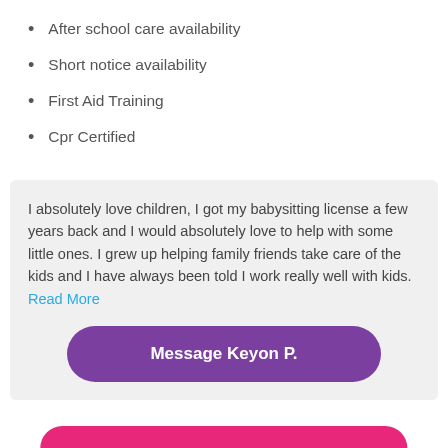After school care availability
Short notice availability
First Aid Training
Cpr Certified
I absolutely love children, I got my babysitting license a few years back and I would absolutely love to help with some little ones. I grew up helping family friends take care of the kids and I have always been told I work really well with kids. Read More
Message Keyon P.